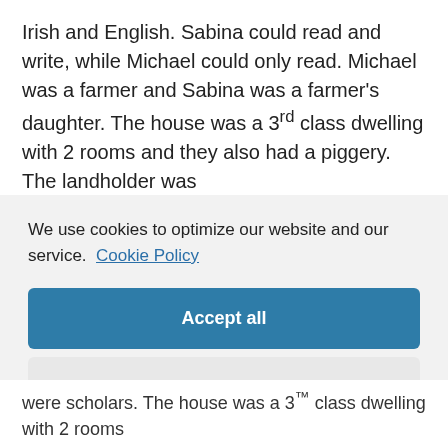Irish and English. Sabina could read and write, while Michael could only read. Michael was a farmer and Sabina was a farmer's daughter. The house was a 3rd class dwelling with 2 rooms and they also had a piggery. The landholder was
We use cookies to optimize our website and our service.  Cookie Policy
Accept all
Dismiss
Preferences
were scholars. The house was a 3rd class dwelling with 2 rooms